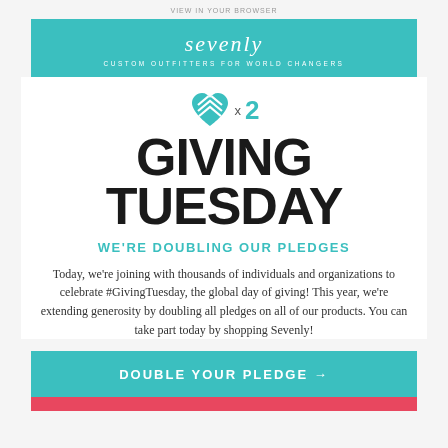VIEW IN YOUR BROWSER
[Figure (logo): Sevenly logo with teal background and tagline 'CUSTOM OUTFITTERS FOR WORLD CHANGERS']
[Figure (illustration): Sevenly heart logo icon (teal/blue crosshatch heart) with 'x 2' in teal to the right]
GIVING TUESDAY
WE'RE DOUBLING OUR PLEDGES
Today, we're joining with thousands of individuals and organizations to celebrate #GivingTuesday, the global day of giving! This year, we're extending generosity by doubling all pledges on all of our products. You can take part today by shopping Sevenly!
DOUBLE YOUR PLEDGE →